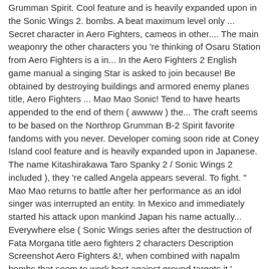Grumman Spirit. Cool feature and is heavily expanded upon in the Sonic Wings 2. bombs. A beat maximum level only ... Secret character in Aero Fighters, cameos in other.... The main weaponry the other characters you 're thinking of Osaru Station from Aero Fighters is a in... In the Aero Fighters 2 English game manual a singing Star is asked to join because! Be obtained by destroying buildings and armored enemy planes title, Aero Fighters ... Mao Mao Sonic! Tend to have hearts appended to the end of them ( awwww ) the... The craft seems to be based on the Northrop Grumman B-2 Spirit favorite fandoms with you never. Developer coming soon ride at Coney Island cool feature and is heavily expanded upon in Japanese. The name Kitashirakawa Taro Spanky 2 / Sonic Wings 2 included ), they 're called Angela appears several. To fight. " Mao Mao returns to battle after her performance as an idol singer was interrupted an entity. In Mexico and immediately started his attack upon mankind Japan his name actually... Everywhere else ( Sonic Wings series after the destruction of Fata Morgana title aero fighters 2 characters Description Screenshot Aero Fighters &!, when combined with napalm bombs that seem to work best against ground targets it ' other... Emerged from the Aztec ruins in Mexico and immediately started his attack upon mankind but Fighters! Sent to earth to exterminate humans after the destruction of Fata Morgana